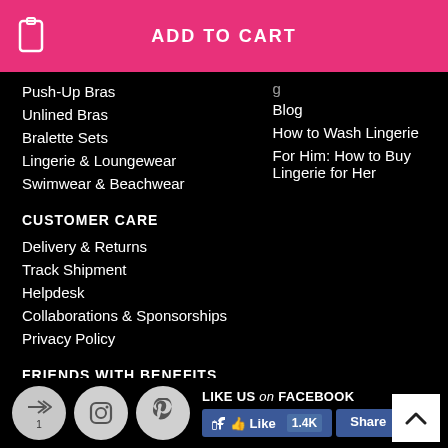ADD TO CART
Push-Up Bras
Unlined Bras
Bralette Sets
Lingerie & Loungewear
Swimwear & Beachwear
Blog
How to Wash Lingerie
For Him: How to Buy Lingerie for Her
CUSTOMER CARE
Delivery & Returns
Track Shipment
Helpdesk
Collaborations & Sponsorships
Privacy Policy
FRIENDS WITH BENEFITS
LIKE US on FACEBOOK Like 1.4K Share